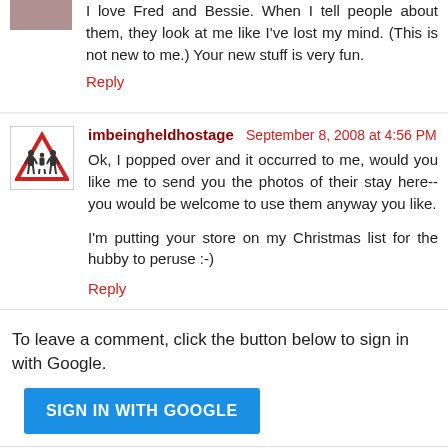I love Fred and Bessie. When I tell people about them, they look at me like I've lost my mind. (This is not new to me.) Your new stuff is very fun.
Reply
imbeingheldhostage  September 8, 2008 at 4:56 PM
Ok, I popped over and it occurred to me, would you like me to send you the photos of their stay here-- you would be welcome to use them anyway you like.
I'm putting your store on my Christmas list for the hubby to peruse :-)
Reply
To leave a comment, click the button below to sign in with Google.
[Figure (other): SIGN IN WITH GOOGLE button]
I'm too tired to growl. Just leave a comment.